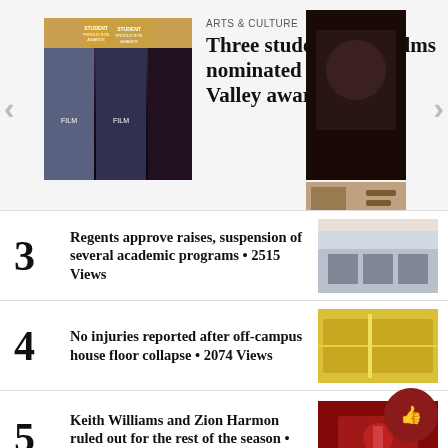[Figure (screenshot): Featured article carousel showing student production awards thumbnail with text 'ARTS & CULTURE — Three student thesis films nominated for Ohio Valley awards', with navigation arrows and side thumbnail]
3 Regents approve raises, suspension of several academic programs • 2515 Views
4 No injuries reported after off-campus house floor collapse • 2074 Views
5 Keith Williams and Zion Harmon ruled out for the rest of the season • 1896 Views